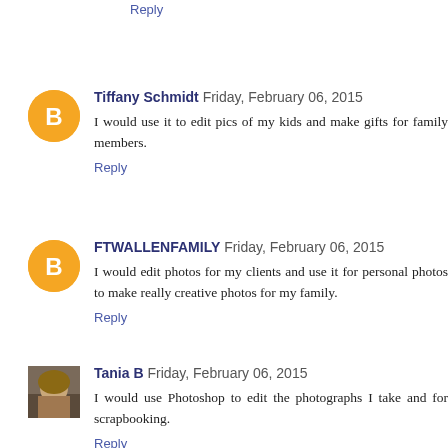Reply
Tiffany Schmidt  Friday, February 06, 2015
I would use it to edit pics of my kids and make gifts for family members.
Reply
FTWALLENFAMILY  Friday, February 06, 2015
I would edit photos for my clients and use it for personal photos to make really creative photos for my family.
Reply
Tania B  Friday, February 06, 2015
I would use Photoshop to edit the photographs I take and for scrapbooking.
Reply